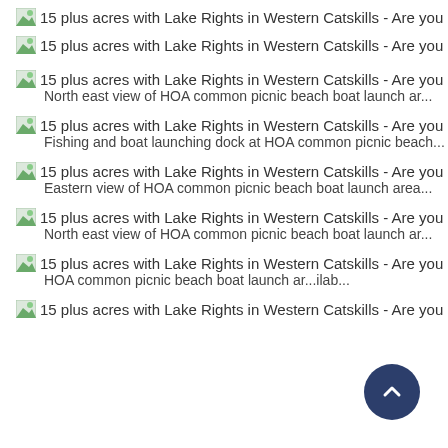15 plus acres with Lake Rights in Western Catskills - Are you pric...
15 plus acres with Lake Rights in Western Catskills - Are you pric...
15 plus acres with Lake Rights in Western Catskills - Are you pric...
North east view of HOA common picnic beach boat launch ar...
15 plus acres with Lake Rights in Western Catskills - Are you pric...
Fishing and boat launching dock at HOA common picnic beach...
15 plus acres with Lake Rights in Western Catskills - Are you pric...
Eastern view of HOA common picnic beach boat launch area...
15 plus acres with Lake Rights in Western Catskills - Are you pric...
North east view of HOA common picnic beach boat launch ar...
15 plus acres with Lake Rights in Western Catskills - Are you pric...
HOA common picnic beach boat launch ar...ilab...
15 plus acres with Lake Rights in Western Catskills - Are you pric...